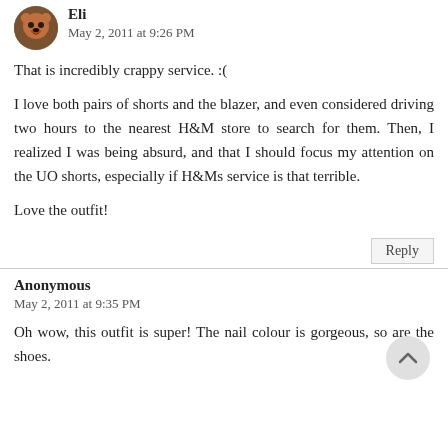Eli
May 2, 2011 at 9:26 PM
That is incredibly crappy service. :(
I love both pairs of shorts and the blazer, and even considered driving two hours to the nearest H&M store to search for them. Then, I realized I was being absurd, and that I should focus my attention on the UO shorts, especially if H&Ms service is that terrible.
Love the outfit!
Reply
Anonymous
May 2, 2011 at 9:35 PM
Oh wow, this outfit is super! The nail colour is gorgeous, so are the shoes.